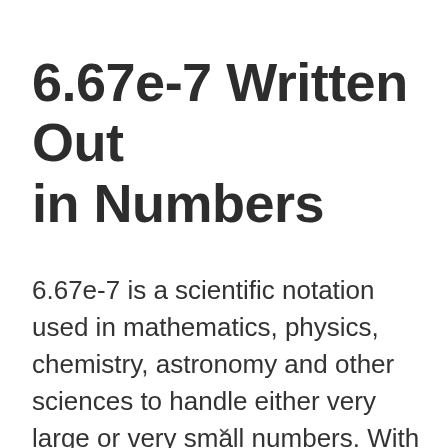6.67e-7 Written Out in Numbers
6.67e-7 is a scientific notation used in mathematics, physics, chemistry, astronomy and other sciences to handle either very large or very small numbers. With scientific notation adding, subtracting, multiplying and dividing